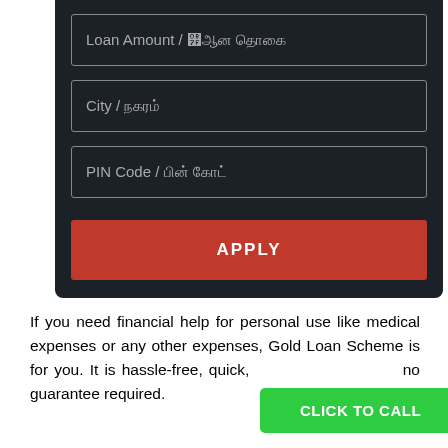[Figure (screenshot): Dark-themed loan application form with three input fields (Loan Amount, City, PIN Code) and an orange APPLY button]
If you need financial help for personal use like medical expenses or any other expenses, Gold Loan Scheme is for you. It is hassle-free, quick, and no guarantee required.
CLICK TO CALL